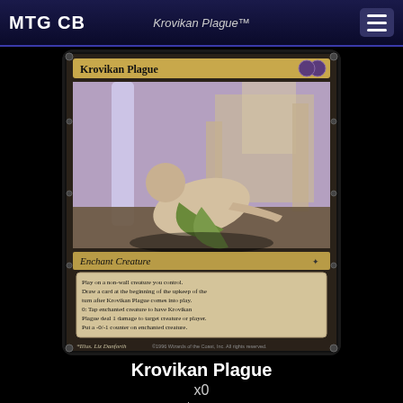MTG CB
[Figure (photo): Magic: The Gathering card 'Krovikan Plague' showing a hunched figure crawling on the ground with plague imagery. Card text reads: Enchant Creature. Play on a non-wall creature you control. Draw a card at the beginning of the upkeep of the turn after Krovikan Plague comes into play. 0: Tap enchanted creature to have Krovikan Plague deal 1 damage to target creature or player. Put a -0/-1 counter on enchanted creature. Illus. Liz Danforth. © 1996 Wizards of the Coast, Inc. All rights reserved.]
Krovikan Plague
x0
$0.06